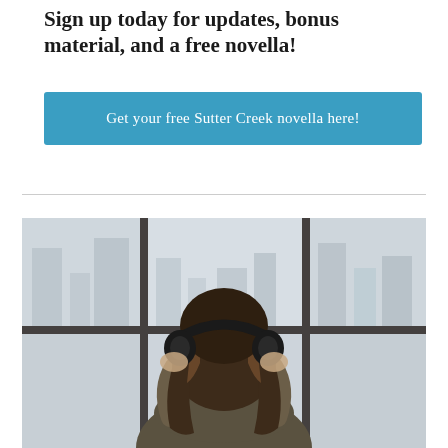Sign up today for updates, bonus material, and a free novella!
Get your free Sutter Creek novella here!
[Figure (photo): Woman with long wavy hair viewed from behind, wearing over-ear headphones and looking out a large multi-pane window]